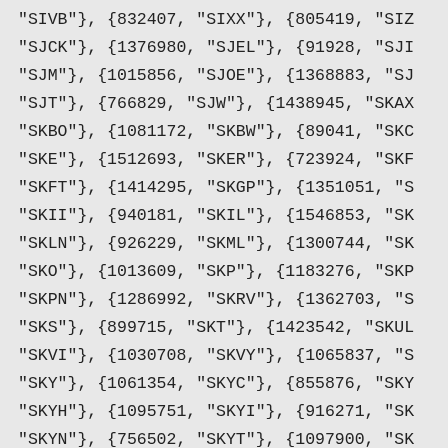"SIVB"}, {832407, "SIXX"}, {805419, "SIZ
"SJCK"}, {1376980, "SJEL"}, {91928, "SJI
"SJM"}, {1015856, "SJOE"}, {1368883, "SJ
"SJT"}, {766829, "SJW"}, {1438945, "SKAX
"SKBO"}, {1081172, "SKBW"}, {89041, "SKC
"SKE"}, {1512693, "SKER"}, {723924, "SKF
"SKFT"}, {1414295, "SKGP"}, {1351051, "S
"SKII"}, {940181, "SKIL"}, {1546853, "SK
"SKLN"}, {926229, "SKML"}, {1300744, "SK
"SKO"}, {1013609, "SKP"}, {1183276, "SKP
"SKPN"}, {1286992, "SKRV"}, {1362703, "S
"SKS"}, {899715, "SKT"}, {1423542, "SKUL
"SKVI"}, {1030708, "SKVY"}, {1065837, "S
"SKY"}, {1061354, "SKYC"}, {855876, "SKY
"SKYH"}, {1095751, "SKYI"}, {916271, "SK
"SKYN"}, {756502, "SKYT"}, {1097900, "SK